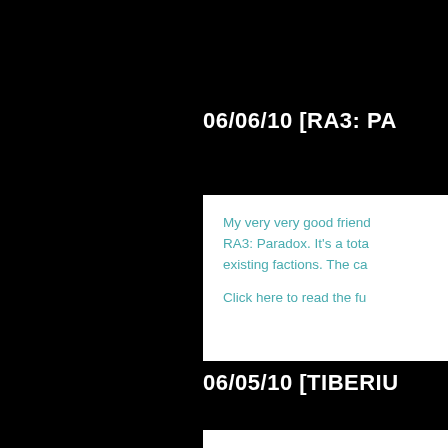06/06/10 [RA3: PA
My very very good friend RA3: Paradox. It's a total existing factions. The ca

Click here to read the fu
06/05/10 [TIBERIU
Kane Nash has released also a back story. It com